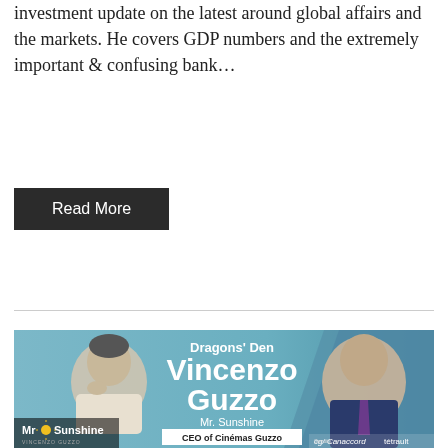investment update on the latest around global affairs and the markets. He covers GDP numbers and the extremely important & confusing bank...
Read More
[Figure (other): Promotional banner for Dragons' Den guest Vincenzo Guzzo, Mr. Sunshine, CEO of Cinémas Guzzo. Shows two photos of the man, text overlay with his name and title, and logos for Mr Sunshine, Canaccord Genuity, and tétrault.]